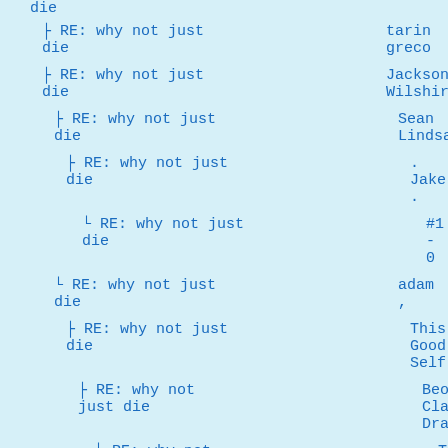├ RE: why not just die
├ RE: why not just die
├ RE: why not just die
├ RE: why not just die
└ RE: why not just die
└ RE: why not just die
├ RE: why not just die
├ RE: why not just die
└ RE: why not just die